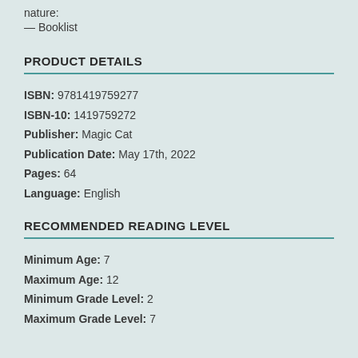nature:
— Booklist
PRODUCT DETAILS
ISBN: 9781419759277
ISBN-10: 1419759272
Publisher: Magic Cat
Publication Date: May 17th, 2022
Pages: 64
Language: English
RECOMMENDED READING LEVEL
Minimum Age: 7
Maximum Age: 12
Minimum Grade Level: 2
Maximum Grade Level: 7